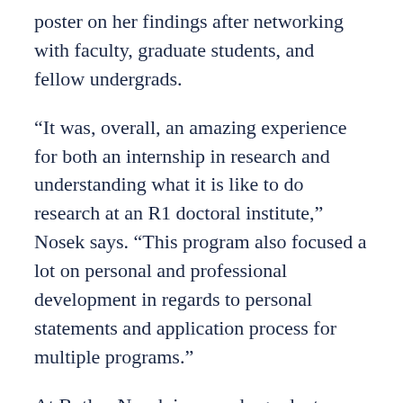poster on her findings after networking with faculty, graduate students, and fellow undergrads.
“It was, overall, an amazing experience for both an internship in research and understanding what it is like to do research at an R1 doctoral institute,” Nosek says. “This program also focused a lot on personal and professional development in regards to personal statements and application process for multiple programs.”
At Butler, Nosek is an undergraduate researcher in Assistant Professor of Biology Chris Stobart’s lab. Stobart loves giving students opportunities to expand their field experience.
In July, Stobart took seven young researchers to Minneapolis for the American Society of Virology annual meeting where they presented talks and